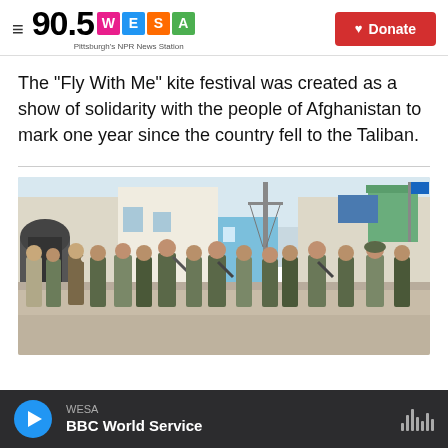90.5 WESA Pittsburgh's NPR News Station | Donate
The "Fly With Me" kite festival was created as a show of solidarity with the people of Afghanistan to mark one year since the country fell to the Taliban.
[Figure (photo): Street scene with armed soldiers and civilians walking on a street in front of buildings, a utility pole, and a blue UN flag visible in the background.]
WESA | BBC World Service